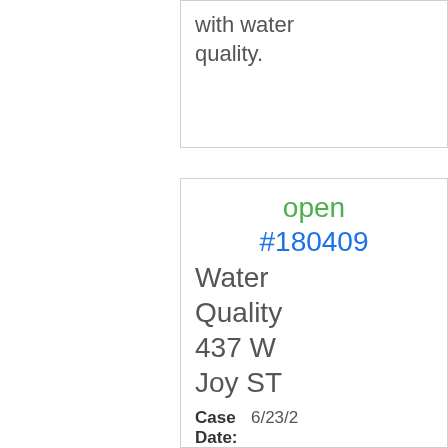with water quality.
open #180409 Water Quality 437 W Joy ST
Case Date: 6/23/2...
Our water is discolored / rusty. This is coming from the cold water taps and isn't due